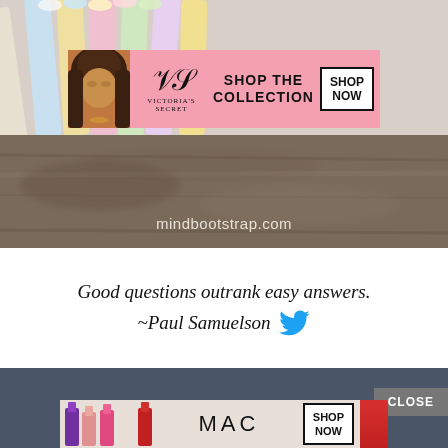[Figure (screenshot): Screenshot of a webpage showing colored pencils background with a Victoria's Secret advertisement banner (pink background, model, VS logo, SHOP THE COLLECTION, SHOP NOW button), a blurred wooden surface below with mindbootstrap.com text, a quote section reading 'Good questions outrank easy answers. ~Paul Samuelson' with Twitter bird icon, and a MAC cosmetics ad at the bottom with lipsticks and SHOP NOW button on a dark overlay with CLOSE button.]